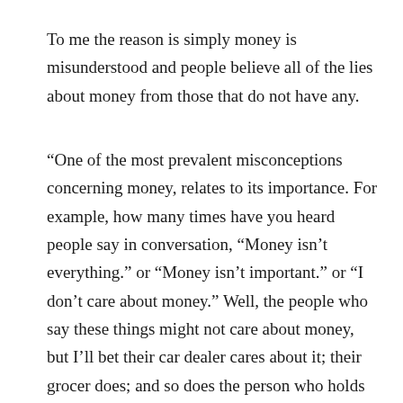To me the reason is simply money is misunderstood and people believe all of the lies about money from those that do not have any.
“One of the most prevalent misconceptions concerning money, relates to its importance. For example, how many times have you heard people say in conversation, “Money isn’t everything.” or “Money isn’t important.” or “I don’t care about money.” Well, the people who say these things might not care about money, but I’ll bet their car dealer cares about it; their grocer does; and so does the person who holds their mortgage. In truth, there can be no denial of the fact that money is important to any person living in a civilized society. Therefore, to argue that it is not as important as this or